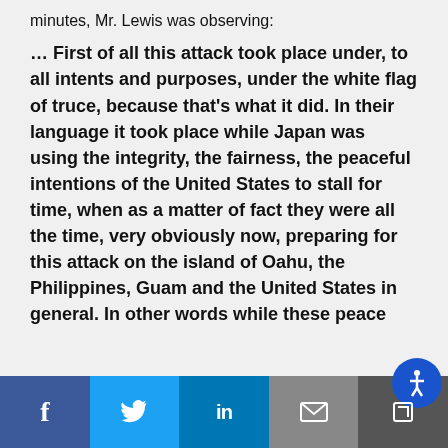minutes, Mr. Lewis was observing:
… First of all this attack took place under, to all intents and purposes, under the white flag of truce, because that's what it did. In their language it took place while Japan was using the integrity, the fairness, the peaceful intentions of the United States to stall for time, when as a matter of fact they were all the time, very obviously now, preparing for this attack on the island of Oahu, the Philippines, Guam and the United States in general. In other words while these peace
Social share bar: Facebook, Twitter, LinkedIn, Email, Accessibility